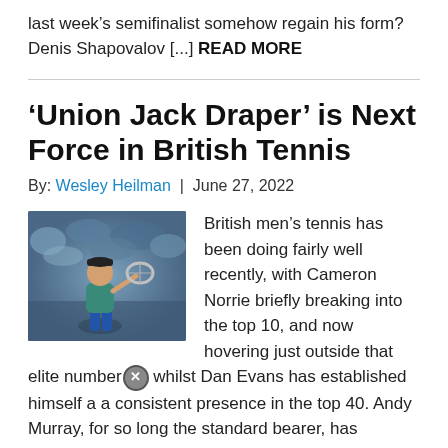last week’s semifinalist somehow regain his form? Denis Shapovalov [...] READ MORE
‘Union Jack Draper’ is Next Force in British Tennis
By: Wesley Heilman | June 27, 2022
[Figure (photo): Tennis player holding a racket with crowd in background]
British men’s tennis has been doing fairly well recently, with Cameron Norrie briefly breaking into the top 10, and now hovering just outside that elite number, whilst Dan Evans has established himself a a consistent presence in the top 40. Andy Murray, for so long the standard bearer, has